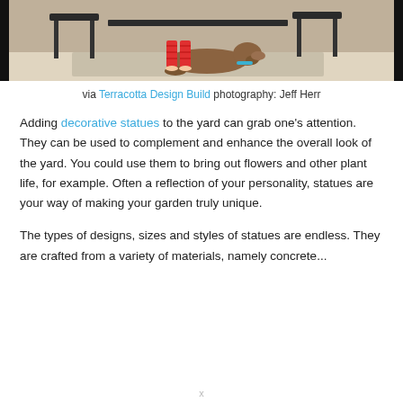[Figure (photo): Indoor/outdoor scene viewed through open glass doors with dark frames. A dog lies on a light-colored rug/floor, and a child in red striped pants stands nearby, with dark chairs visible in the background.]
via Terracotta Design Build photography: Jeff Herr
Adding decorative statues to the yard can grab one's attention. They can be used to complement and enhance the overall look of the yard. You could use them to bring out flowers and other plant life, for example. Often a reflection of your personality, statues are your way of making your garden truly unique.
The types of designs, sizes and styles of statues are endless. They are crafted from a variety of materials, namely concrete...